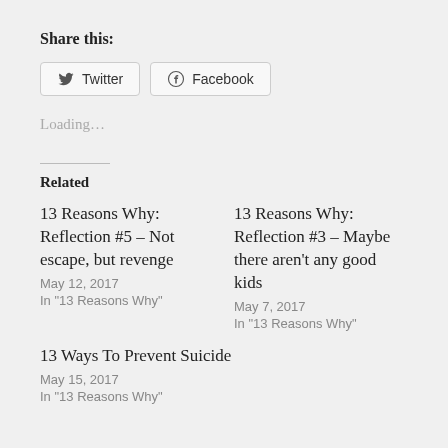Share this:
[Figure (other): Social sharing buttons: Twitter and Facebook]
Loading…
Related
13 Reasons Why: Reflection #5 – Not escape, but revenge
May 12, 2017
In "13 Reasons Why"
13 Reasons Why: Reflection #3 – Maybe there aren't any good kids
May 7, 2017
In "13 Reasons Why"
13 Ways To Prevent Suicide
May 15, 2017
In "13 Reasons Why"